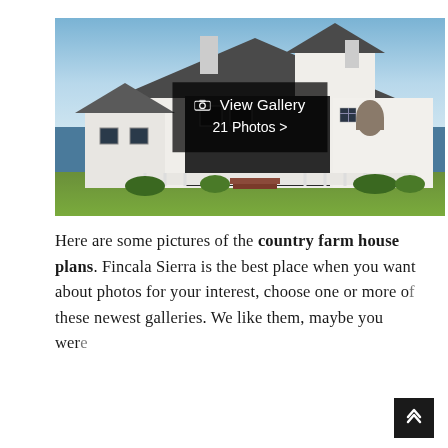[Figure (photo): Exterior photo of a large white country farmhouse with dark roof, wrap-around porch, chimney, and green lawn. A semi-transparent dark overlay in the center reads 'View Gallery 21 Photos >'.]
Here are some pictures of the country farm house plans. Fincala Sierra is the best place when you want about photos for your interest, choose one or more of these newest galleries. We like them, maybe you were